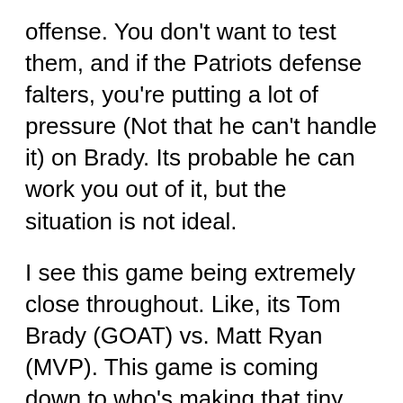offense.  You don't want to test them, and if the Patriots defense falters, you're putting a lot of pressure (Not that he can't handle it) on Brady.  Its probable he can work you out of it, but the situation is not ideal.
I see this game being extremely close throughout.  Like, its Tom Brady (GOAT) vs. Matt Ryan (MVP).  This game is coming down to who's making that tiny mistake, whether its via a penalty, turnover, or missed kick.  Who's more prepared?
This where it gets hard to go against the Patriots.  This is Tom Brady's 7th Super Bowl